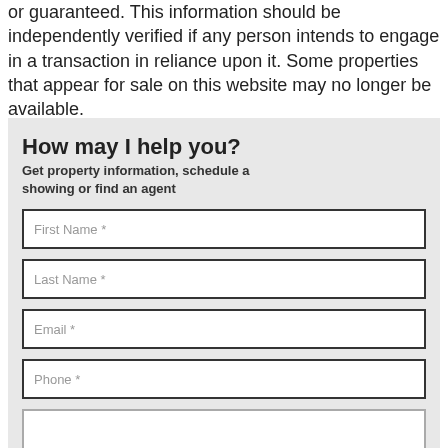or guaranteed. This information should be independently verified if any person intends to engage in a transaction in reliance upon it. Some properties that appear for sale on this website may no longer be available.
How may I help you?
Get property information, schedule a showing or find an agent
First Name *
Last Name *
Email *
Phone *